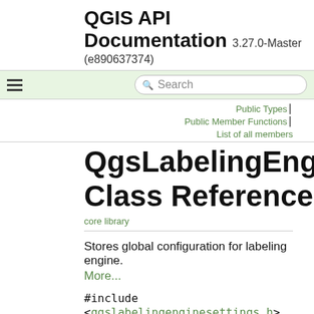QGIS API Documentation 3.27.0-Master (e890637374)
Public Types | Public Member Functions | List of all members
QgsLabelingEngineSettings Class Reference
core library
Stores global configuration for labeling engine. More...
#include <qgslabelingenginesettings.h>